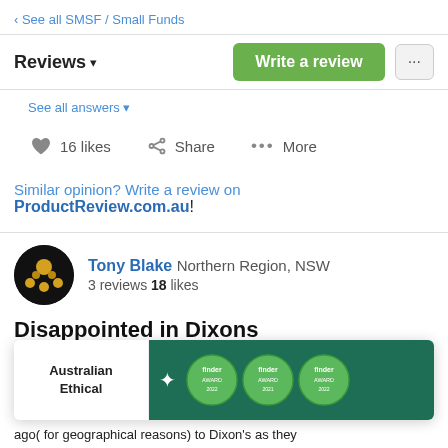‹ See all SMSF / Small Funds
Reviews ▾
See all answers ▾
16 likes   Share   ••• More
Similar opinion? Write a review on ProductReview.com.au!
Tony Blake Northern Region, NSW
3 reviews 18 likes
Disappointed in Dixons
[Figure (screenshot): Advertisement banner for Australian Ethical with finder award badges on green background]
ago( for geographical reasons) to Dixon's as they